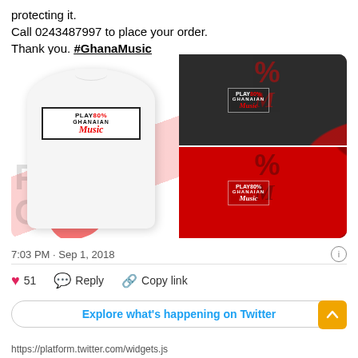protecting it.
Call 0243487997 to place your order.
Thank you. #GhanaMusic
[Figure (photo): Collage of three t-shirts with 'PLAY 80% GHANAIAN Music' text design: white t-shirt on left, dark grey t-shirt top right, red t-shirt bottom right, all against a background with red and black typography.]
7:03 PM · Sep 1, 2018
❤ 51   Reply   Copy link
Explore what's happening on Twitter
https://platform.twitter.com/widgets.js